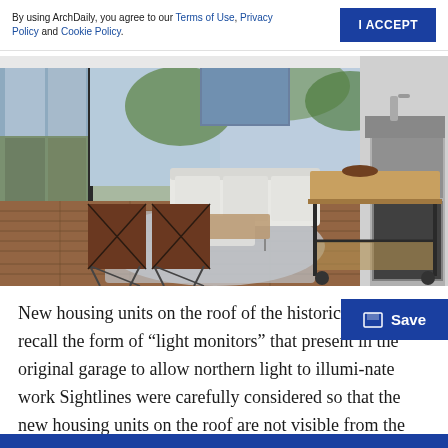By using ArchDaily, you agree to our Terms of Use, Privacy Policy and Cookie Policy.
[Figure (photo): Interior photo of a modern open-plan living space with wood floors, two brown leather chairs, a white sofa, a kitchen island on wheels with a butcher block top, large windows, and kitchen appliances in the background.]
New housing units on the roof of the historic structure recall the form of “light monitors” that present in the original garage to allow northern light to illumi-nate work Sightlines were carefully considered so that the new housing units on the roof are not visible from the street.